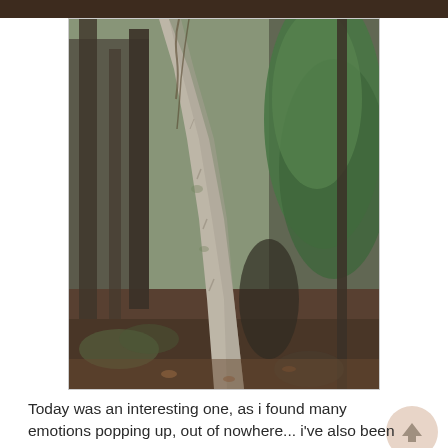[Figure (photo): A forest scene showing a leaning birch or alder tree trunk in the center foreground, surrounded by darker evergreen trees including a green conifer on the right. The forest floor is covered with leaves, roots, and undergrowth. The image is slightly muted/desaturated in color.]
Today was an interesting one, as i found many emotions popping up, out of nowhere... i've also been not wanting to do a dang thing - what is that?  Not usually me.